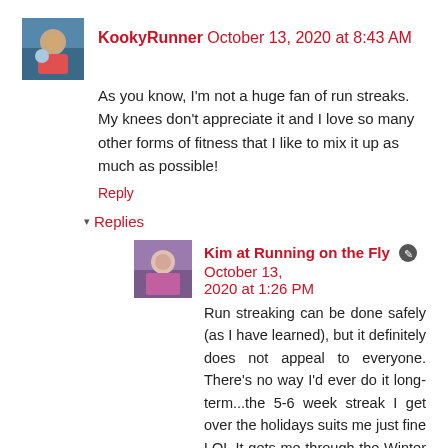[Figure (photo): Small avatar photo of KookyRunner, outdoor scene with person on bicycle]
KookyRunner October 13, 2020 at 8:43 AM
As you know, I'm not a huge fan of run streaks. My knees don't appreciate it and I love so many other forms of fitness that I like to mix it up as much as possible!
Reply
▾ Replies
[Figure (photo): Small avatar photo of Kim at Running on the Fly]
Kim at Running on the Fly 🖊 October 13, 2020 at 1:26 PM
Run streaking can be done safely (as I have learned), but it definitely does not appeal to everyone. There's no way I'd ever do it long-term...the 5-6 week streak I get over the holidays suits me just fine LOL It gets me through the Winter Solstice!
Reply